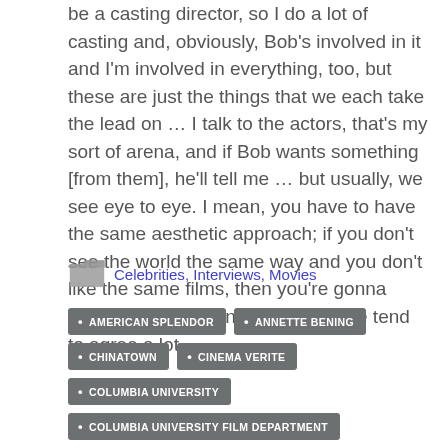be a casting director, so I do a lot of casting and, obviously, Bob's involved in it and I'm involved in everything, too, but these are just the things that we each take the lead on … I talk to the actors, that's my sort of arena, and if Bob wants something [from them], he'll tell me … but usually, we see eye to eye. I mean, you have to have the same aesthetic approach; if you don't see the world the same way and you don't like the same films, then you're gonna constantly be battling, so luckily, we tend to agree a lot.
Celebrities, Interviews, Movies
AMERICAN SPLENDOR
ANNETTE BENING
CHINATOWN
CINEMA VERITE
COLUMBIA UNIVERSITY
COLUMBIA UNIVERSITY FILM DEPARTMENT
DOCUMENTARIES
EZRA STEAD
HARVEY PEKAR